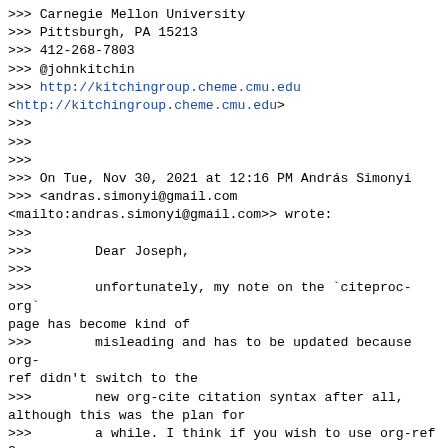>>> Carnegie Mellon University
>>> Pittsburgh, PA 15213
>>> 412-268-7803
>>> @johnkitchin
>>> http://kitchingroup.cheme.cmu.edu
<http://kitchingroup.cheme.cmu.edu>
>>>
>>>
>>>
>>> On Tue, Nov 30, 2021 at 12:16 PM András Simonyi
>>> <andras.simonyi@gmail.com
<mailto:andras.simonyi@gmail.com>> wrote:
>>>
>>>        Dear Joseph,
>>>
>>>        unfortunately, my note on the `citeproc-org` page has become kind of
>>>        misleading and has to be updated because org-ref didn't switch to the
>>>        new org-cite citation syntax after all, although this was the plan for
>>>        a while. I think if you wish to use org-ref 3 then you should simply
>>>        remove citeproc-org entirely -- if I understand correctly the latest
>>>        version of org-ref supports the old syntax as well and is capable of
>>>        CSL-based export (among others) on its own.
>>>
>>>        best regards,